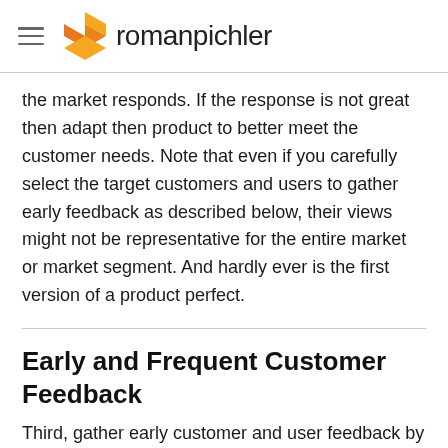romanpichler
the market responds. If the response is not great then adapt then product to better meet the customer needs. Note that even if you carefully select the target customers and users to gather early feedback as described below, their views might not be representative for the entire market or market segment. And hardly ever is the first version of a product perfect.
Early and Frequent Customer Feedback
Third, gather early customer and user feedback by